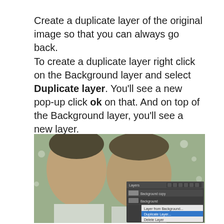Create a duplicate layer of the original image so that you can always go back.
To create a duplicate layer right click on the Background layer and select Duplicate layer. You'll see a new pop-up click ok on that. And on top of the Background layer, you'll see a new layer.
[Figure (screenshot): Photo of two young women outdoors with a Photoshop Layers panel screenshot overlaid in the bottom right corner showing a context menu with 'Duplicate Layer' highlighted in blue and 'Delete Layer' below it.]